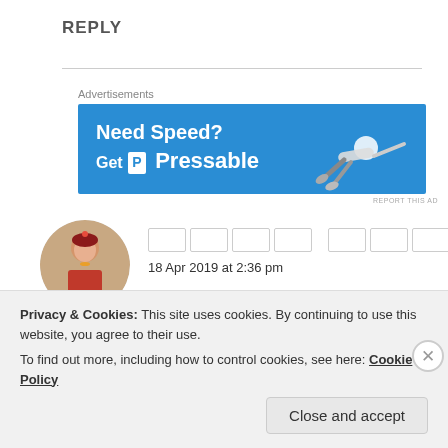REPLY
[Figure (illustration): Advertisement banner with blue background showing 'Need Speed? Get Pressable' with a person flying horizontally]
Advertisements
REPORT THIS AD
[Figure (photo): Circular avatar photo of a woman in traditional Indian bridal attire]
18 Apr 2019 at 2:36 pm
Priya ek kam kr skte hain hum...
Privacy & Cookies: This site uses cookies. By continuing to use this website, you agree to their use.
To find out more, including how to control cookies, see here: Cookie Policy
Close and accept